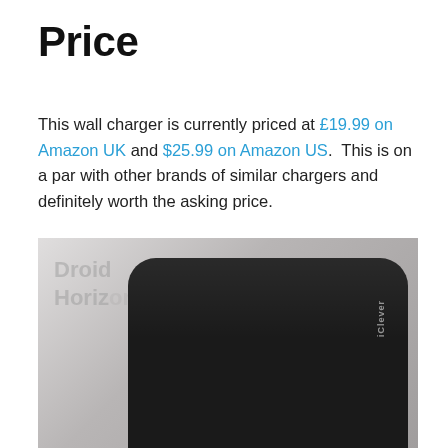Price
This wall charger is currently priced at £19.99 on Amazon UK and $25.99 on Amazon US.  This is on a par with other brands of similar chargers and definitely worth the asking price.
[Figure (photo): Close-up photograph of a black iClever wall charger on a light grey background. The iClever logo is visible on the upper right of the device. A watermark reading 'DroidHorizon' is partially visible in the upper left.]